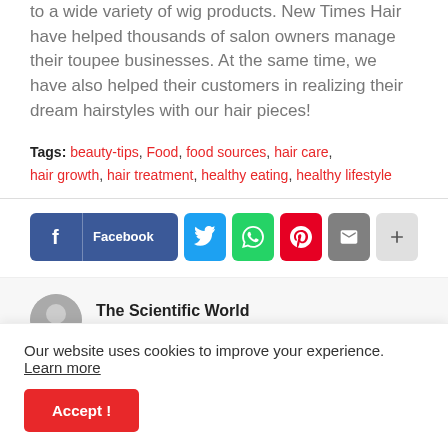to a wide variety of wig products. New Times Hair have helped thousands of salon owners manage their toupee businesses. At the same time, we have also helped their customers in realizing their dream hairstyles with our hair pieces!
Tags: beauty-tips, Food, food sources, hair care, hair growth, hair treatment, healthy eating, healthy lifestyle
[Figure (other): Social share buttons row: Facebook, Twitter, WhatsApp, Pinterest, Email, More (+)]
[Figure (photo): Author avatar circle photo - The Scientific World]
The Scientific World
Our website uses cookies to improve your experience. Learn more
Accept !